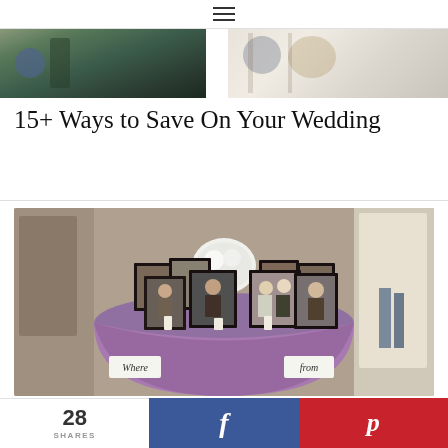≡ (hamburger menu)
[Figure (photo): Two cropped photos side by side at top of page: left photo shows a blurred outdoor scene with blue/green tones, right photo shows table items including what appears to be food or decorative items on a white surface]
15+ Ways to Save On Your Wedding
[Figure (photo): Wedding reception table display with purple/lavender tablecloth draped over a round table, covered with multiple black-framed photographs of couples and family members in vintage/black-and-white style. White flower arrangement in center back. Signs hanging on front of table reading 'Where' and 'from'. Bright doorway visible in background right. Ambient indoor venue lighting.]
28 SHARES
[Figure (other): Facebook share button (blue background with white f icon)]
[Figure (other): Pinterest share button (red background with white p icon)]